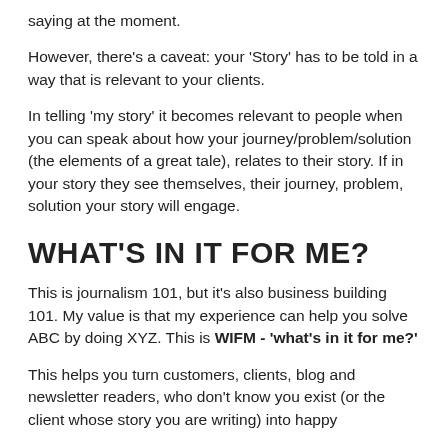saying at the moment.
However, there's a caveat: your 'Story' has to be told in a way that is relevant to your clients.
In telling 'my story' it becomes relevant to people when you can speak about how your journey/problem/solution (the elements of a great tale), relates to their story. If in your story they see themselves, their journey, problem, solution your story will engage.
WHAT'S IN IT FOR ME?
This is journalism 101, but it's also business building 101. My value is that my experience can help you solve ABC by doing XYZ. This is WIFM - 'what's in it for me?'
This helps you turn customers, clients, blog and newsletter readers, who don't know you exist (or the client whose story you are writing) into happy